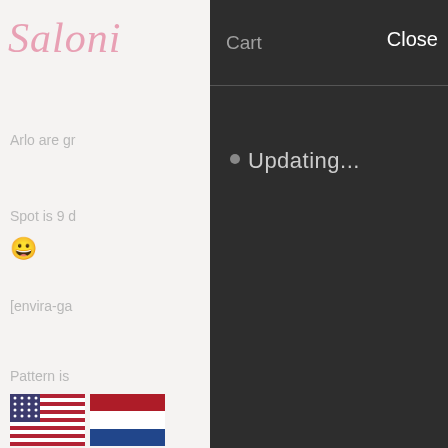[Figure (screenshot): A website with a shopping cart overlay. The left side shows a partially visible website with a cursive pink logo reading 'Saloni', partially visible text snippets including 'Arlo are gr', 'Spot is 9 d', '[envira-ga', 'Pattern is', 'Translatio', 'Ackerman', '(PT-BR)', and flag icons for USA, Netherlands, Denmark, and Brazil. The right side shows a dark modal cart panel with 'Cart' and 'Close' in the header, a horizontal divider, and 'Updating...' text in the body.]